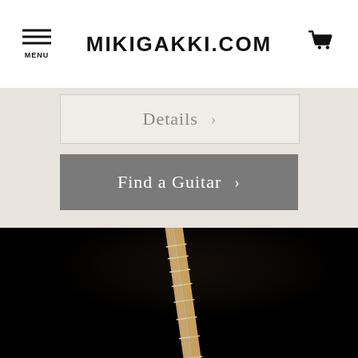MIKIGAKKI.COM
Details >
Find a Guitar >
[Figure (photo): Close-up photograph of a guitar headstock and neck against a black background, showing the tuning pegs and fretboard with frets.]